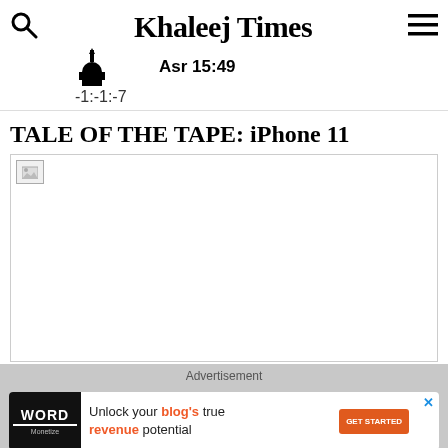Khaleej Times
Asr 15:49
-1:-1:-7
TALE OF THE TAPE: iPhone 11
[Figure (photo): Broken/loading image placeholder for article about iPhone 11]
Advertisement
[Figure (other): Advertisement banner: Word Monetize logo, text 'Unlock your blog's true revenue potential', GET STARTED button]